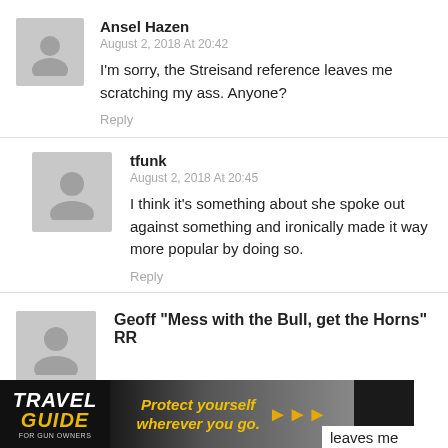Ansel Hazen
August 2, 2018 At 20:42
I'm sorry, the Streisand reference leaves me scratching my ass. Anyone?
Reply
tfunk
August 2, 2018 At 20:45
I think it's something about she spoke out against something and ironically made it way more popular by doing so.
Reply
Geoff "Mess with the Bull, get the Horns" RR
[Figure (infographic): Travel Guide for Gun Owners advertisement banner. Dark background with gold/yellow text reading 'Protect yourself wherever you go.' with arrow icons and US LawShield logo.]
leaves me